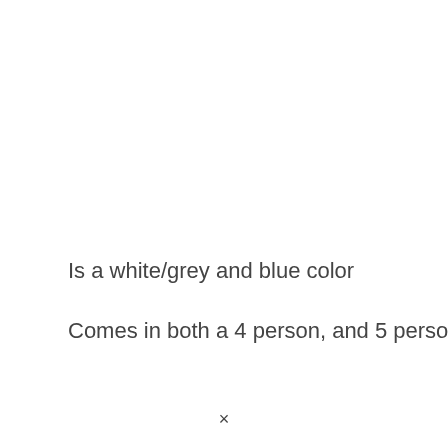Is a white/grey and blue color
Comes in both a 4 person, and 5 person
×